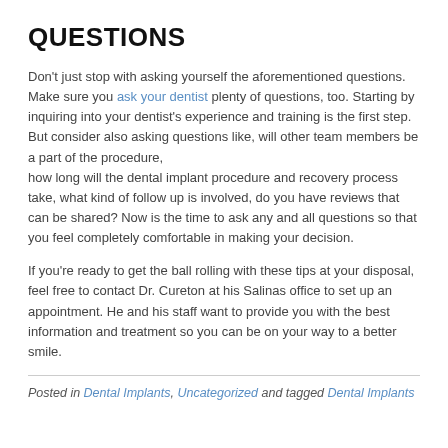QUESTIONS
Don't just stop with asking yourself the aforementioned questions. Make sure you ask your dentist plenty of questions, too. Starting by inquiring into your dentist's experience and training is the first step. But consider also asking questions like, will other team members be a part of the procedure, how long will the dental implant procedure and recovery process take, what kind of follow up is involved, do you have reviews that can be shared? Now is the time to ask any and all questions so that you feel completely comfortable in making your decision.
If you're ready to get the ball rolling with these tips at your disposal, feel free to contact Dr. Cureton at his Salinas office to set up an appointment. He and his staff want to provide you with the best information and treatment so you can be on your way to a better smile.
Posted in Dental Implants, Uncategorized and tagged Dental Implants